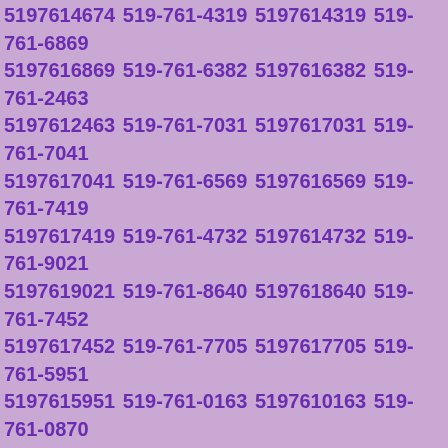5197614674 519-761-4319 5197614319 519-761-6869 5197616869 519-761-6382 5197616382 519-761-2463 5197612463 519-761-7031 5197617031 519-761-7041 5197617041 519-761-6569 5197616569 519-761-7419 5197617419 519-761-4732 5197614732 519-761-9021 5197619021 519-761-8640 5197618640 519-761-7452 5197617452 519-761-7705 5197617705 519-761-5951 5197615951 519-761-0163 5197610163 519-761-0870 5197610870 519-761-7696 5197617696 519-761-6960 5197616960 519-761-0804 5197610804 519-761-1733 5197611733 519-761-3709 5197613709 519-761-1175 5197611175 519-761-6476 5197616476 519-761-7801 5197617801 519-761-4276 5197614276 519-761-5736 5197615736 519-761-1123 5197611123 519-761-1598 5197611598 519-761-8320 5197618320 519-761-9405 5197619405 519-761-4610 5197614610 519-761-9278 5197619278 519-761-9733 5197619733 519-761-6334 5197616334 519-761-3384 5197613384 519-761-7485 5197617485 519-761-5704 5197615704 519-761-7791 5197617791 519-761-9685 5197619685 519-761-9811 5197619811 519-761-7506 5197617506 519-761-0213